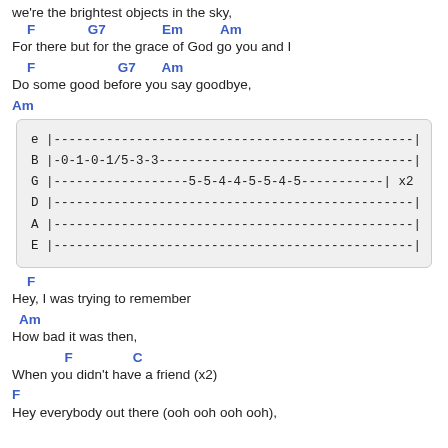we're the brightest objects in the sky,
F                G7               Em          Am
For there but for the grace of God go you and I
F                       G7       Am
Do some good before you say goodbye,
Am
[Figure (other): Guitar tablature box showing 6 strings (e, B, G, D, A, E) with notes: B|-0-1-0-1/5-3-3---, G|------------------5-5-4-4-5-5-4-5---, x2]
F
Hey, I was trying to remember
Am
How bad it was then,
F                C
When you didn't have a friend (x2)
F
Hey everybody out there (ooh ooh ooh ooh),